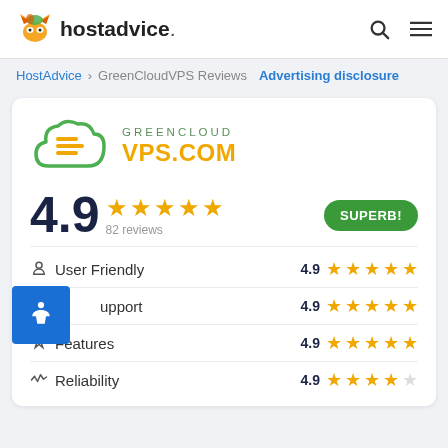hostadvice.
HostAdvice > GreenCloudVPS Reviews  Advertising disclosure
[Figure (logo): GreenCloudVPS.com logo with green cloud icon and yellow VPS.COM text]
4.9 ★★★★★ 82 reviews  SUPERB!
User Friendly  4.9 ★★★★★
Support  4.9 ★★★★★
Features  4.9 ★★★★★
Reliability  4.9 ★★★★